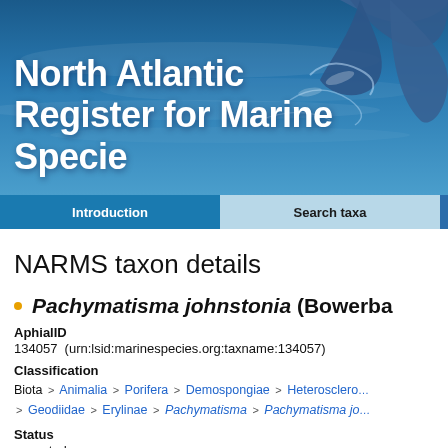[Figure (photo): Banner photograph of a whale tail/fluke emerging from ocean water with blue water background, overlaid with white bold text reading 'North Atlantic Register for Marine Species']
Introduction | Search taxa
NARMS taxon details
Pachymatisma johnstonia (Bowerba...
AphialID
134057  (urn:lsid:marinespecies.org:taxname:134057)
Classification
Biota > Animalia > Porifera > Demospongiae > Heterosclero... > Geodiidae > Erylinae > Pachymatisma > Pachymatisma jo...
Status
accepted
Rank